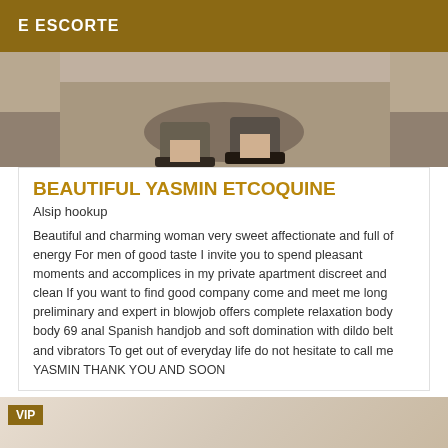E ESCORTE
[Figure (photo): Cropped photo showing legs and high-heeled black shoes]
BEAUTIFUL YASMIN ETCOQUINE
Alsip hookup
Beautiful and charming woman very sweet affectionate and full of energy For men of good taste I invite you to spend pleasant moments and accomplices in my private apartment discreet and clean If you want to find good company come and meet me long preliminary and expert in blowjob offers complete relaxation body body 69 anal Spanish handjob and soft domination with dildo belt and vibrators To get out of everyday life do not hesitate to call me YASMIN THANK YOU AND SOON
[Figure (photo): VIP listing photo strip at the bottom of the page]